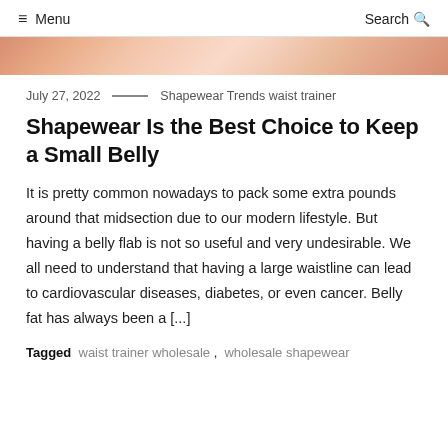≡ Menu   Search 🔍
[Figure (photo): Partial view of a woman wearing shapewear, cropped at top of page]
July 27, 2022  ——  Shapewear Trends waist trainer
Shapewear Is the Best Choice to Keep a Small Belly
It is pretty common nowadays to pack some extra pounds around that midsection due to our modern lifestyle. But having a belly flab is not so useful and very undesirable. We all need to understand that having a large waistline can lead to cardiovascular diseases, diabetes, or even cancer. Belly fat has always been a [...]
Tagged  waist trainer wholesale ,  wholesale shapewear